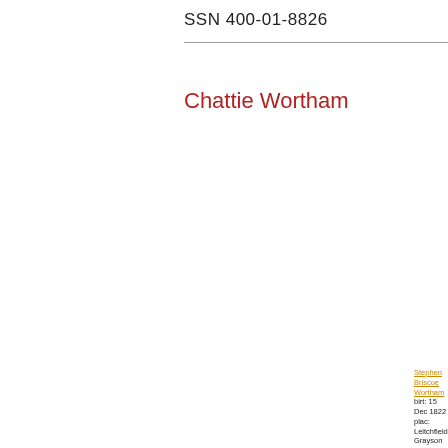SSN 400-01-8826
Chattie Wortham
Stephen Briscoe Wortham birt: 15 Dec 1822 plac: Leitchfield Grayson county,